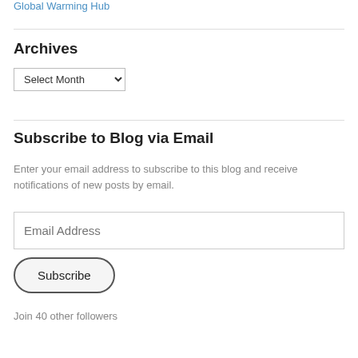Global Warming Hub
Archives
Select Month
Subscribe to Blog via Email
Enter your email address to subscribe to this blog and receive notifications of new posts by email.
Email Address
Subscribe
Join 40 other followers